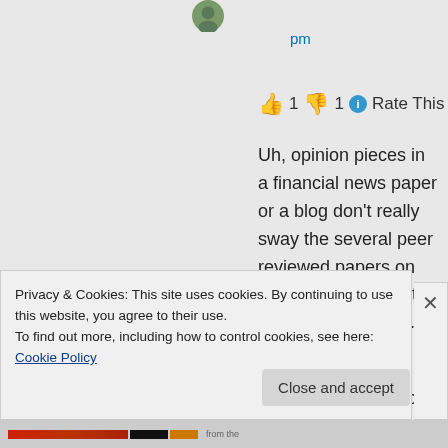pm
👍 1 👎 1 ℹ Rate This
Uh, opinion pieces in a financial news paper or a blog don't really sway the several peer reviewed papers on the subject of climate science consensus.
If the studies were flawed, then why not publish a rebuttal to the
Privacy & Cookies: This site uses cookies. By continuing to use this website, you agree to their use.
To find out more, including how to control cookies, see here: Cookie Policy